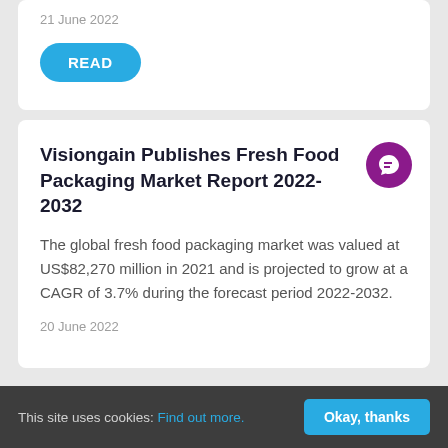21 June 2022
READ
Visiongain Publishes Fresh Food Packaging Market Report 2022-2032
The global fresh food packaging market was valued at US$82,270 million in 2021 and is projected to grow at a CAGR of 3.7% during the forecast period 2022-2032.
20 June 2022
This site uses cookies: Find out more.
Okay, thanks